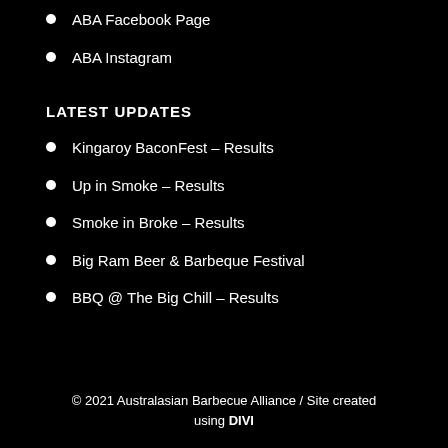ABA Facebook Page
ABA Instagram
LATEST UPDATES
Kingaroy BaconFest – Results
Up in Smoke – Results
Smoke in Broke – Results
Big Ram Beer & Barbeque Festival
BBQ @ The Big Chill – Results
© 2021 Australasian Barbecue Alliance / Site created using DIVI